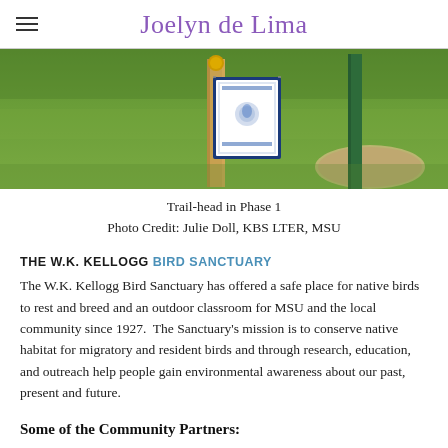Joelyn de Lima
[Figure (photo): Outdoor photo showing a trail-head sign post with a white sign, wooden post, and a green metal post, set against a green grassy background at the W.K. Kellogg Bird Sanctuary. Photo credit: Julie Doll, KBS LTER, MSU.]
Trail-head in Phase 1
Photo Credit: Julie Doll, KBS LTER, MSU
THE W.K. KELLOGG BIRD SANCTUARY
The W.K. Kellogg Bird Sanctuary has offered a safe place for native birds to rest and breed and an outdoor classroom for MSU and the local community since 1927. The Sanctuary's mission is to conserve native habitat for migratory and resident birds and through research, education, and outreach help people gain environmental awareness about our past, present and future.
Some of the Community Partners: